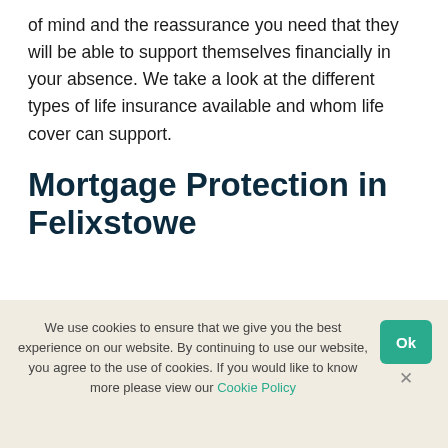of mind and the reassurance you need that they will be able to support themselves financially in your absence. We take a look at the different types of life insurance available and whom life cover can support.
Mortgage Protection in Felixstowe
We use cookies to ensure that we give you the best experience on our website. By continuing to use our website, you agree to the use of cookies. If you would like to know more please view our Cookie Policy